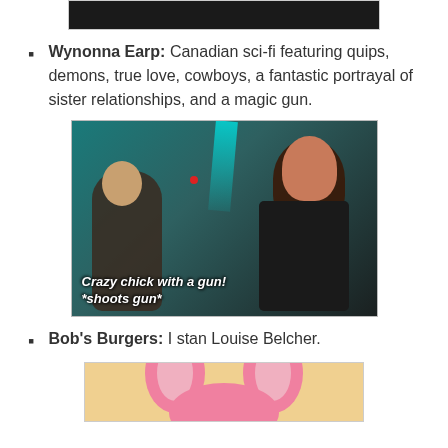[Figure (screenshot): Top cropped image, dark scene from a show]
Wynonna Earp: Canadian sci-fi featuring quips, demons, true love, cowboys, a fantastic portrayal of sister relationships, and a magic gun.
[Figure (screenshot): Screenshot from Wynonna Earp show: woman with gun in nightclub scene with teal lighting. Subtitle text reads: Crazy chick with a gun! *shoots gun*]
Bob's Burgers: I stan Louise Belcher.
[Figure (screenshot): Cropped cartoon image showing pink bunny ears, likely Louise Belcher from Bob's Burgers]